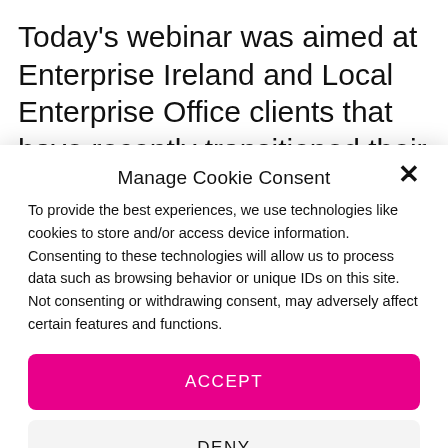Today's webinar was aimed at Enterprise Ireland and Local Enterprise Office clients that have recently transitioned their training, consultancy,
Manage Cookie Consent
To provide the best experiences, we use technologies like cookies to store and/or access device information. Consenting to these technologies will allow us to process data such as browsing behavior or unique IDs on this site. Not consenting or withdrawing consent, may adversely affect certain features and functions.
ACCEPT
DENY
VIEW PREFERENCES
Terms & Conditions